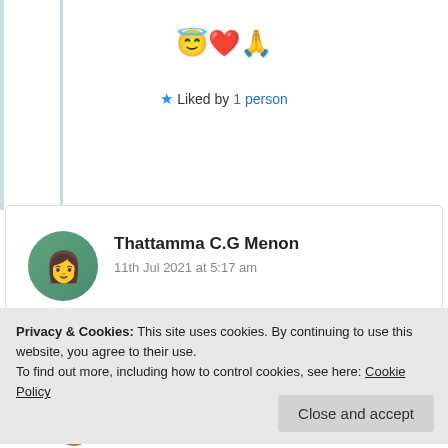😇❤️🙏
★ Liked by 1 person
Thattamma C.G Menon
11th Jul 2021 at 5:17 am
Prayers and Good Wishes 🙏❤️🌹✌️
★ Liked by 1 person
Privacy & Cookies: This site uses cookies. By continuing to use this website, you agree to their use. To find out more, including how to control cookies, see here: Cookie Policy
Close and accept
Suma Reddy